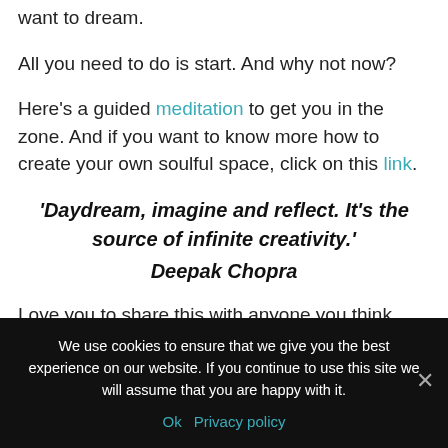want to dream.
All you need to do is start. And why not now?
Here's a guided meditation to get you in the zone. And if you want to know more how to create your own soulful space, click on this link.
'Daydream, imagine and reflect. It’s the source of infinite creativity.' Deepak Chopra
Love you to share this with anyone you think
We use cookies to ensure that we give you the best experience on our website. If you continue to use this site we will assume that you are happy with it.
Ok   Privacy policy